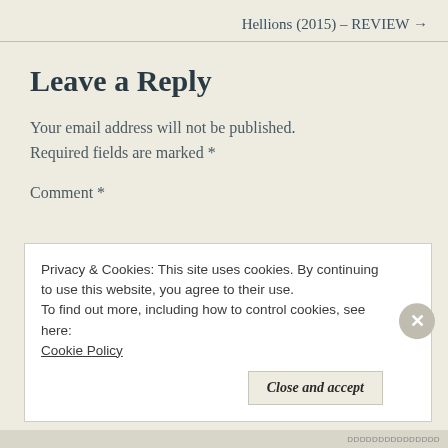Hellions (2015) – REVIEW →
Leave a Reply
Your email address will not be published. Required fields are marked *
Comment *
Privacy & Cookies: This site uses cookies. By continuing to use this website, you agree to their use. To find out more, including how to control cookies, see here: Cookie Policy
DDDDDDDDDDDDDD